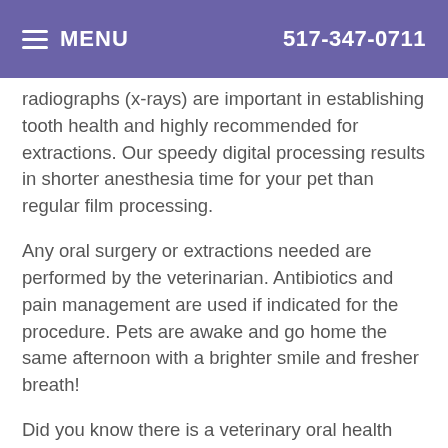MENU  517-347-0711
radiographs (x-rays) are important in establishing tooth health and highly recommended for extractions. Our speedy digital processing results in shorter anesthesia time for your pet than regular film processing.
Any oral surgery or extractions needed are performed by the veterinarian. Antibiotics and pain management are used if indicated for the procedure. Pets are awake and go home the same afternoon with a brighter smile and fresher breath!
Did you know there is a veterinary oral health council (VOHC)? Their main job is to verify that the dental products available to our dogs and cats are effective against plague, tartar and bad breath. Click here to